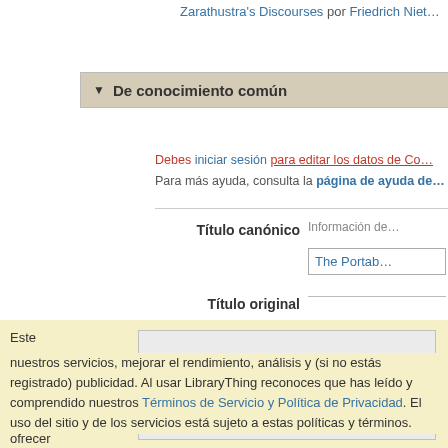Zarathustra's Discourses por Friedrich Niet…
De conocimiento común
Debes iniciar sesión para editar los datos de Co… Para más ayuda, consulta la página de ayuda de…
Título canónico   Información de…   The Portab…
Título original
Este sitio utiliza cookies para ofrecer
Estoy de acuerdo
nuestros servicios, mejorar el rendimiento, análisis y (si no estás registrado) publicidad. Al usar LibraryThing reconoces que has leído y comprendido nuestros Términos de Servicio y Política de Privacidad. El uso del sitio y de los servicios está sujeto a estas políticas y términos.